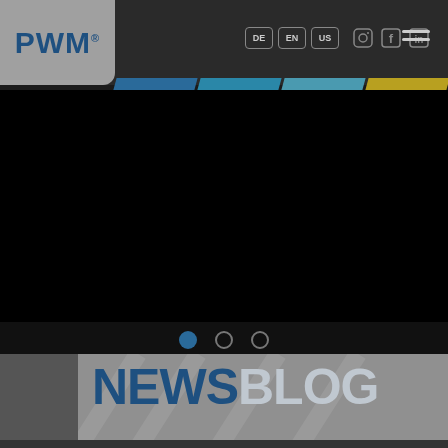PWM® — navigation header with language selectors DE EN US, social icons (Instagram, Facebook, LinkedIn), and hamburger menu
[Figure (screenshot): Black hero image area (carousel slide, content not visible), with three slide indicator dots below (first dot filled/active in blue, second and third empty/gray)]
NEWSBLOG